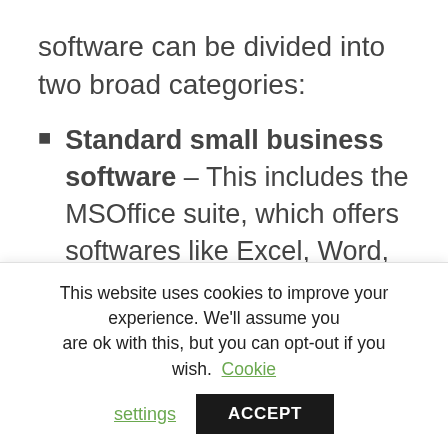software can be divided into two broad categories:
Standard small business software – This includes the MSOffice suite, which offers softwares like Excel, Word, Outlook, PowerPoint, etc, for everyday office use. While it provides excellent services, it can incur large expenses for a small business. A good alternative would be to use the
This website uses cookies to improve your experience. We'll assume you are ok with this, but you can opt-out if you wish. Cookie settings ACCEPT